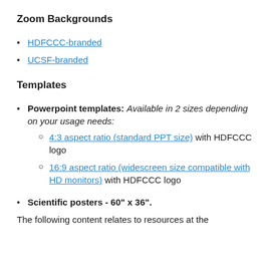Zoom Backgrounds
HDFCCC-branded
UCSF-branded
Templates
Powerpoint templates: Available in 2 sizes depending on your usage needs:
4:3 aspect ratio (standard PPT size) with HDFCCC logo
16:9 aspect ratio (widescreen size compatible with HD monitors) with HDFCCC logo
Scientific posters - 60" x 36".
The following content relates to resources at the